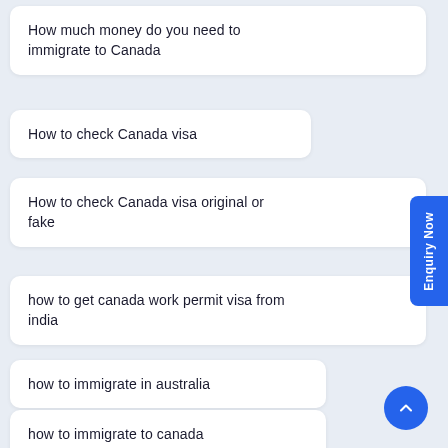How much money do you need to immigrate to Canada
How to check Canada visa
How to check Canada visa original or fake
how to get canada work permit visa from india
how to immigrate in australia
how to immigrate to canada